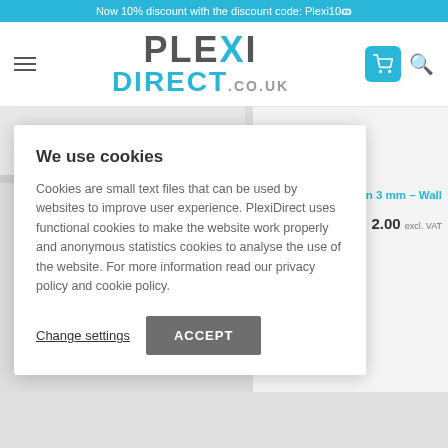Now 10% discount with the discount code: Plexi10
[Figure (logo): PlexiDirect.co.uk logo — PLEXI in dark grey with cyan X, DIRECT in cyan, .co.uk in grey]
screen 3 mm – Wall
2.00 excl. VAT
We use cookies
Cookies are small text files that can be used by websites to improve user experience. PlexiDirect uses functional cookies to make the website work properly and anonymous statistics cookies to analyse the use of the website. For more information read our privacy policy and cookie policy.
Change settings
ACCEPT